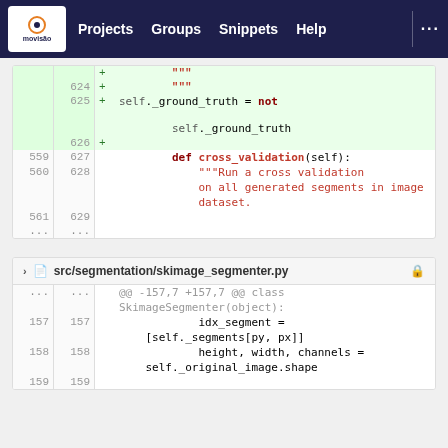movisão | Projects | Groups | Snippets | Help | ...
[Figure (screenshot): Code diff panel showing lines 624-629 of a Python file with added lines for ground_truth toggle and cross_validation method definition]
[Figure (screenshot): Code diff panel for src/segmentation/skimage_segmenter.py showing lines 157-159 with idx_segment and height/width/channels assignments]